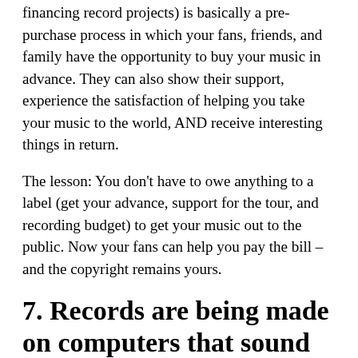financing record projects) is basically a pre-purchase process in which your fans, friends, and family have the opportunity to buy your music in advance. They can also show their support, experience the satisfaction of helping you take your music to the world, AND receive interesting things in return.
The lesson: You don't have to owe anything to a label (get your advance, support for the tour, and recording budget) to get your music out to the public. Now your fans can help you pay the bill – and the copyright remains yours.
7. Records are being made on computers that sound as good as studio records from the 1960s.